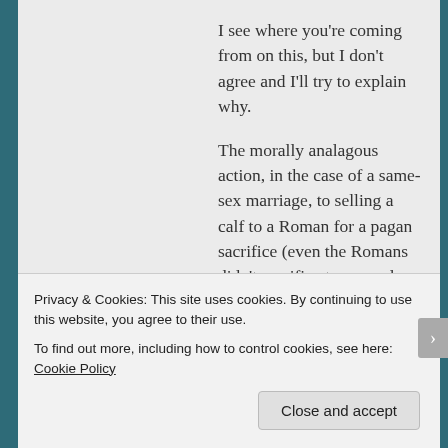I see where you're coming from on this, but I don't agree and I'll try to explain why.

The morally analagous action, in the case of a same-sex marriage, to selling a calf to a Roman for a pagan sacrifice (even the Romans didn't sacrifice to generals while they were still just generals) might be selling a wedding license to the couple. Something without which the sacrifice/wedding wouldn't happen. And yes, I can see why you might not
Privacy & Cookies: This site uses cookies. By continuing to use this website, you agree to their use.
To find out more, including how to control cookies, see here: Cookie Policy